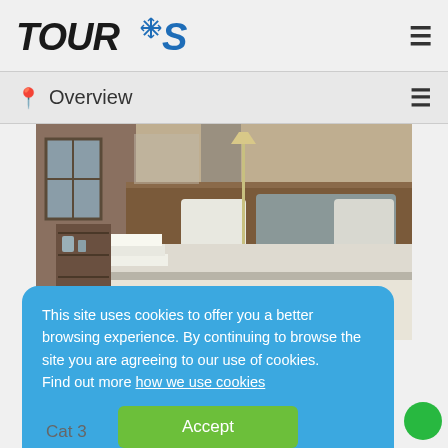[Figure (logo): TOURIS logo with snowflake icon, stylized italic text in dark/blue colors]
Overview
[Figure (photo): Hotel room interior showing a double bed with grey pillows, wood headboard, white bedding, towels on a chair, and a shelf with toiletries in the background]
This site uses cookies to offer you a better browsing experience. By continuing to browse the site you are agreeing to our use of cookies.
Find out more how we use cookies
Accept
Cat 3